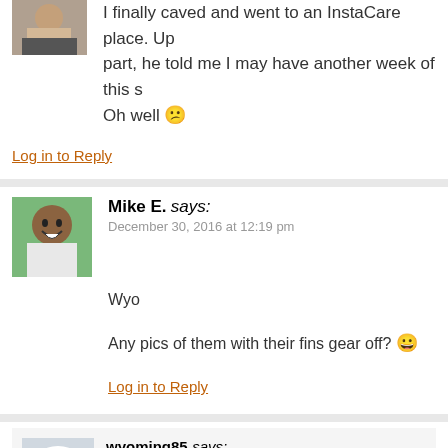I finally caved and went to an InstaCare place. Up part, he told me I may have another week of this s Oh well 😕
Log in to Reply
Mike E. says:
December 30, 2016 at 12:19 pm
Wyo
Any pics of them with their fins gear off? 😀
Log in to Reply
wyoming85 says: